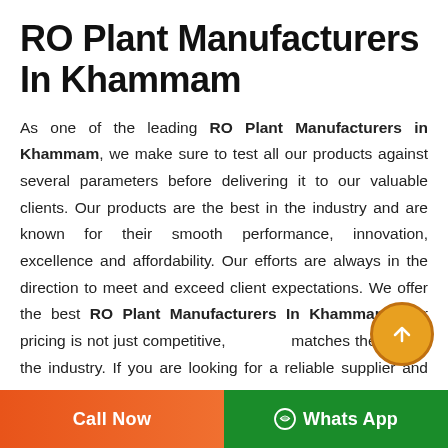RO Plant Manufacturers In Khammam
As one of the leading RO Plant Manufacturers in Khammam, we make sure to test all our products against several parameters before delivering it to our valuable clients. Our products are the best in the industry and are known for their smooth performance, innovation, excellence and affordability. Our efforts are always in the direction to meet and exceed client expectations. We offer the best RO Plant Manufacturers In Khammam, Our pricing is not just competitive, but matches the best in the industry. If you are looking for a reliable supplier and Manufacturers of RO Plant in Khammam,